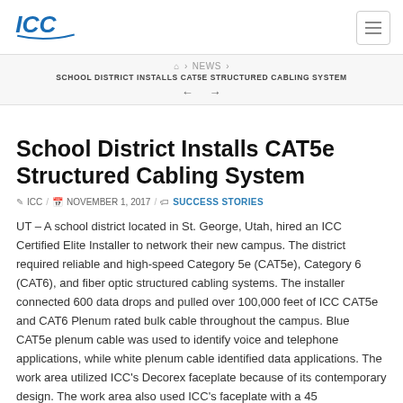ICC logo and navigation
SCHOOL DISTRICT INSTALLS CAT5E STRUCTURED CABLING SYSTEM
School District Installs CAT5e Structured Cabling System
✎ ICC / 🗓 NOVEMBER 1, 2017 / 🔖 SUCCESS STORIES
UT – A school district located in St. George, Utah, hired an ICC Certified Elite Installer to network their new campus. The district required reliable and high-speed Category 5e (CAT5e), Category 6 (CAT6), and fiber optic structured cabling systems. The installer connected 600 data drops and pulled over 100,000 feet of ICC CAT5e and CAT6 Plenum rated bulk cable throughout the campus. Blue CAT5e plenum cable was used to identify voice and telephone applications, while white plenum cable identified data applications. The work area utilized ICC's Decorex faceplate because of its contemporary design. The work area also used ICC's faceplate with a 45...